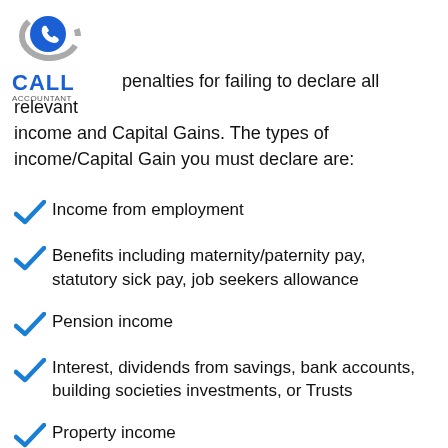[Figure (logo): Call Accountant logo with blue phone icon and grey swoosh, blue CALL text and grey ACCOUNTANT text below]
penalties for failing to declare all relevant income and Capital Gains. The types of income/Capital Gain you must declare are:
Income from employment
Benefits including maternity/paternity pay, statutory sick pay, job seekers allowance
Pension income
Interest, dividends from savings, bank accounts, building societies investments, or Trusts
Property income